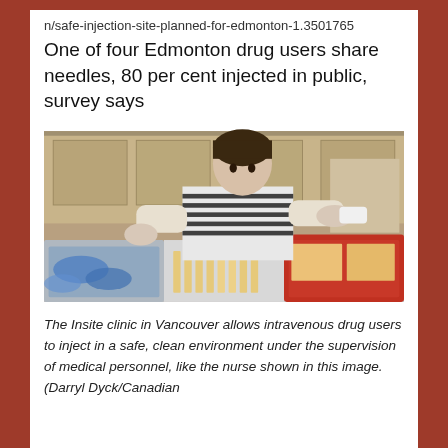n/safe-injection-site-planned-for-edmonton-1.3501765
One of four Edmonton drug users share needles, 80 per cent injected in public, survey says
[Figure (photo): A nurse at the Insite clinic in Vancouver works behind a counter with trays of medical supplies including syringes and other equipment.]
The Insite clinic in Vancouver allows intravenous drug users to inject in a safe, clean environment under the supervision of medical personnel, like the nurse shown in this image. (Darryl Dyck/Canadian